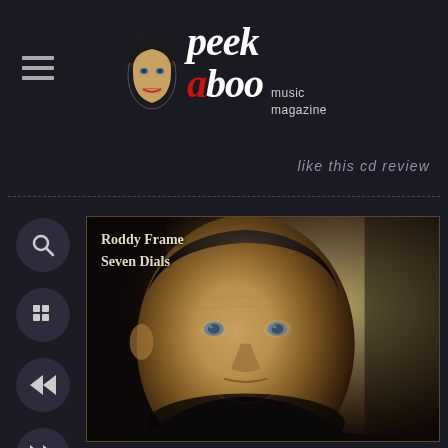peek a boo music magazine
like this cd review
[Figure (photo): Album cover for Roddy Frame - Seven Dials, showing a close-up portrait of a middle-aged man with short hair looking directly at the camera, dark background with warm tones]
Roddy Frame
Seven Dials